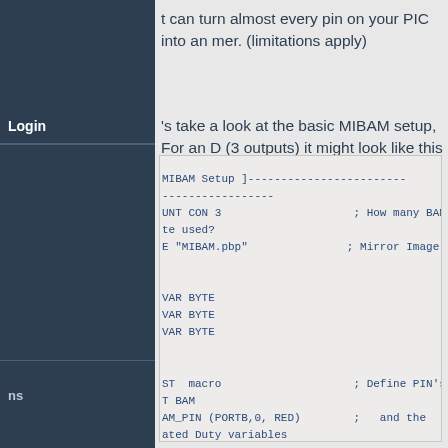t can turn almost every pin on your PIC into an mer. (limitations apply)
Login
's take a look at the basic MIBAM setup, For an D (3 outputs) it might look like this ....
[ MIBAM Setup ]---...
---...
UNT CON 3   ; How many BAM
te used?
E "MIBAM.pbp"   ; Mirror Image BAM

VAR BYTE
VAR BYTE
VAR BYTE

ST macro   ; Define PIN's to
T BAM
AM_PIN (PORTB,0, RED)   ; and the
ated Duty variables
AM_PIN (PORTB,1, GREEN)
AM_PIN (PORTB,2, BLUE)

INIT BAM_LIST   ; Initialize the